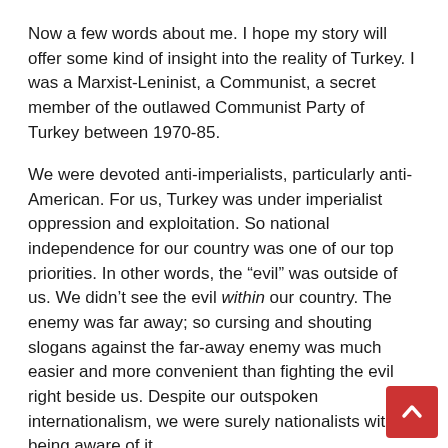Now a few words about me. I hope my story will offer some kind of insight into the reality of Turkey. I was a Marxist-Leninist, a Communist, a secret member of the outlawed Communist Party of Turkey between 1970-85.
We were devoted anti-imperialists, particularly anti-American. For us, Turkey was under imperialist oppression and exploitation. So national independence for our country was one of our top priorities. In other words, the "evil" was outside of us. We didn't see the evil within our country. The enemy was far away; so cursing and shouting slogans against the far-away enemy was much easier and more convenient than fighting the evil right beside us. Despite our outspoken internationalism, we were surely nationalists without being aware of it.
We were anti-imperialist and anti-capitalist, believing in class struggle, but we became anti-fascist only after the para-military government-backed ultra-nationalist mobs started to kill us in streets, in our homes, in factories, and at schools in the late